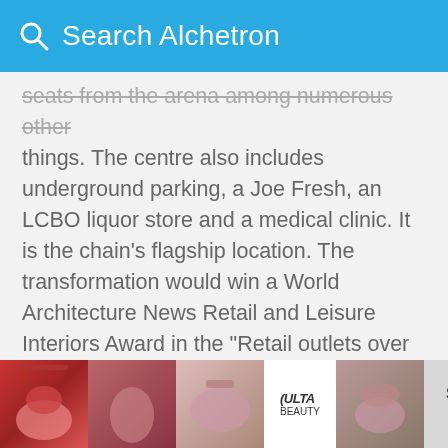Search Alchetron
seats from the arena among numerous other things. The centre also includes underground parking, a Joe Fresh, an LCBO liquor store and a medical clinic. It is the chain's flagship location. The transformation would win a World Architecture News Retail and Leisure Interiors Award in the "Retail outlets over 200 square metres (2,200 sq ft)" category.
Mattamy Athletic Centre at the Gardens
On November 29, 2011, Ryerson University announced that Peter Silverman, Founder and Chief Execu...
[Figure (screenshot): Advertisement banner at the bottom showing makeup/beauty product images, ULTA logo, SHOP NOW text, and id-19 badge]